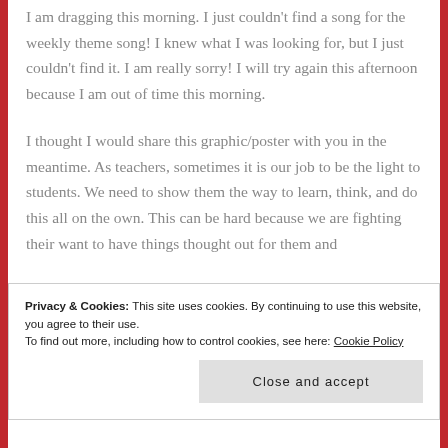I am dragging this morning.  I just couldn't find a song for the weekly theme song!  I knew what I was looking for, but I just couldn't find it.  I am really sorry!  I will try again this afternoon because I am out of time this morning.
I thought I would share this graphic/poster with you in the meantime.  As teachers, sometimes it is our job to be the light to students.  We need to show them the way to learn, think, and do this all on the own.  This can be hard because we are fighting their want to have things thought out for them and
Privacy & Cookies: This site uses cookies. By continuing to use this website, you agree to their use.
To find out more, including how to control cookies, see here: Cookie Policy